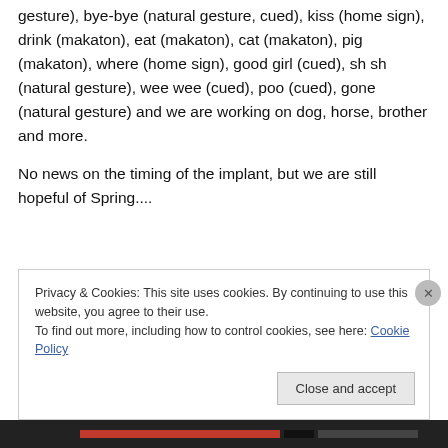gesture), bye-bye (natural gesture, cued), kiss (home sign), drink (makaton), eat (makaton), cat (makaton), pig (makaton), where (home sign), good girl (cued), sh sh (natural gesture), wee wee (cued), poo (cued), gone (natural gesture) and we are working on dog, horse, brother and more.
No news on the timing of the implant, but we are still hopeful of Spring....
Privacy & Cookies: This site uses cookies. By continuing to use this website, you agree to their use.
To find out more, including how to control cookies, see here: Cookie Policy